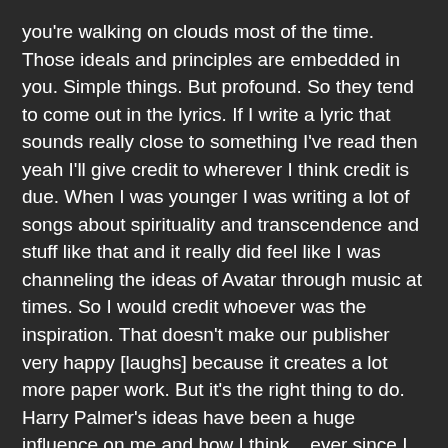you're walking on clouds most of the time. Those ideals and principles are embedded in you. Simple things. But profound. So they tend to come out in the lyrics. If I write a lyric that sounds really close to something I've read then yeah I'll give credit to wherever I think credit is due. When I was younger I was writing a lot of songs about spirituality and transcendence and stuff like that and it really did feel like I was channeling the ideas of Avatar through music at times. So I would credit whoever was the inspiration. That doesn't make our publisher very happy [laughs] because it creates a lot more paper work. But it's the right thing to do. Harry Palmer's ideas have been a huge influence on me and how I think... ever since I was a kid.
FFA: Does he know that he's written songs with you?
EH: I don't know. [laughs] That's a weird way to put it. But I've never kept it a secret. We've never talked about it. I